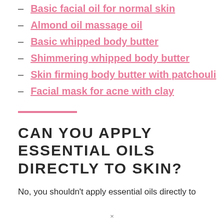Basic facial oil for normal skin
Almond oil massage oil
Basic whipped body butter
Shimmering whipped body butter
Skin firming body butter with patchouli
Facial mask for acne with clay
CAN YOU APPLY ESSENTIAL OILS DIRECTLY TO SKIN?
No, you shouldn't apply essential oils directly to